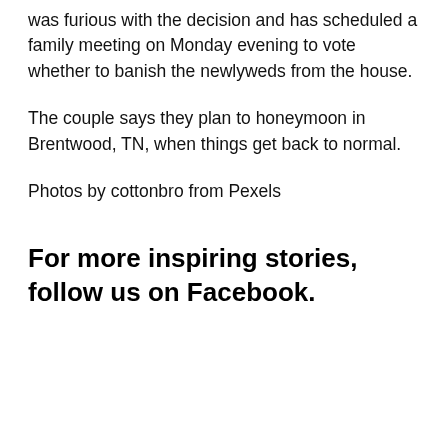was furious with the decision and has scheduled a family meeting on Monday evening to vote whether to banish the newlyweds from the house.
The couple says they plan to honeymoon in Brentwood, TN, when things get back to normal.
Photos by cottonbro from Pexels
For more inspiring stories, follow us on Facebook.